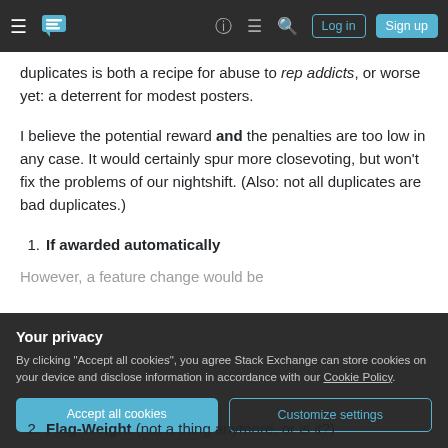Stack Exchange navigation bar with Log in and Sign up buttons
duplicates is both a recipe for abuse to rep addicts, or worse yet: a deterrent for modest posters.
I believe the potential reward and the penalties are too low in any case. It would certainly spur more closevoting, but won't fix the problems of our nightshift. (Also: not all duplicates are bad duplicates.)
If awarded automatically
Your privacy
By clicking "Accept all cookies", you agree Stack Exchange can store cookies on your device and disclose information in accordance with our Cookie Policy.
Accept all cookies
Customize settings
Flag-Weight (not a thing anymore, or is it?)